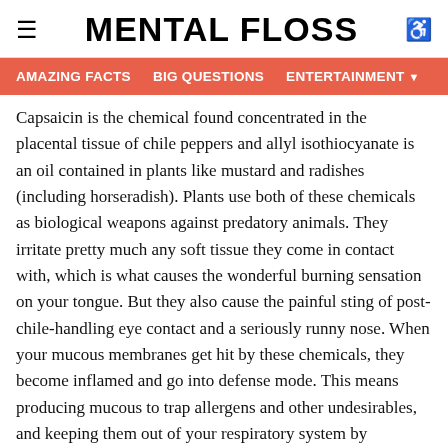≡  MENTAL FLOSS  ♿
AMAZING FACTS   BIG QUESTIONS   ENTERTAINMENT ▼
Capsaicin is the chemical found concentrated in the placental tissue of chile peppers and allyl isothiocyanate is an oil contained in plants like mustard and radishes (including horseradish). Plants use both of these chemicals as biological weapons against predatory animals. They irritate pretty much any soft tissue they come in contact with, which is what causes the wonderful burning sensation on your tongue. But they also cause the painful sting of post-chile-handling eye contact and a seriously runny nose. When your mucous membranes get hit by these chemicals, they become inflamed and go into defense mode. This means producing mucous to trap allergens and other undesirables, and keeping them out of your respiratory system by removing them via the nasal passage.
You might have noticed that if you've got a cold and are